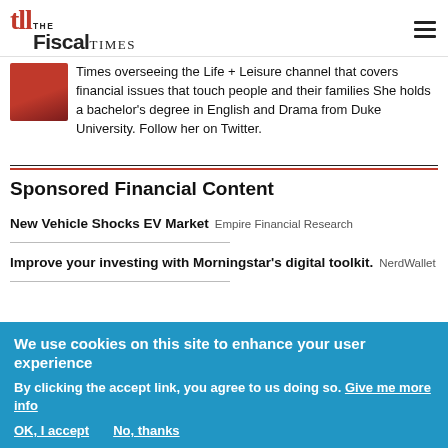THE FISCAL TIMES
Times overseeing the Life + Leisure channel that covers financial issues that touch people and their families She holds a bachelor's degree in English and Drama from Duke University. Follow her on Twitter.
Sponsored Financial Content
New Vehicle Shocks EV Market  Empire Financial Research
Improve your investing with Morningstar's digital toolkit.  NerdWallet
We use cookies on this site to enhance your user experience
By clicking the accept link, you agree to us doing so. Give me more info
OK, I accept   No, thanks